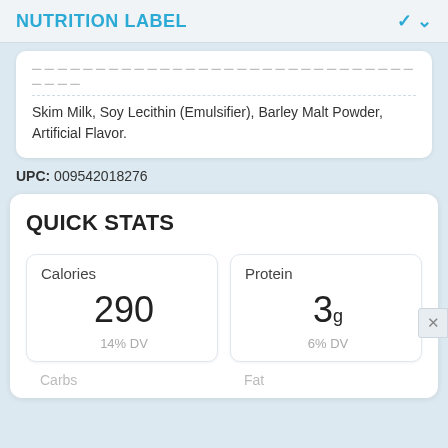NUTRITION LABEL
Skim Milk, Soy Lecithin (Emulsifier), Barley Malt Powder, Artificial Flavor.
UPC: 009542018276
QUICK STATS
| Calories | Protein |
| --- | --- |
| 290 | 3g |
| 14% DV | 6% DV |
Carbs	Fat